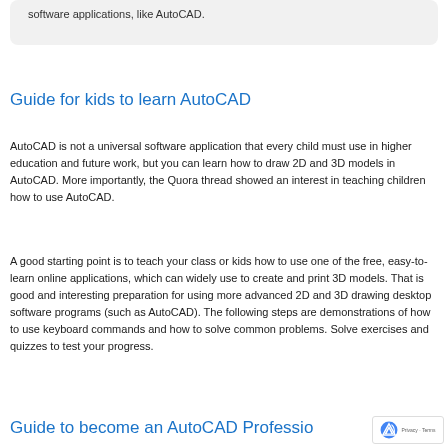software applications, like AutoCAD.
Guide for kids to learn AutoCAD
AutoCAD is not a universal software application that every child must use in higher education and future work, but you can learn how to draw 2D and 3D models in AutoCAD. More importantly, the Quora thread showed an interest in teaching children how to use AutoCAD.
A good starting point is to teach your class or kids how to use one of the free, easy-to-learn online applications, which can widely use to create and print 3D models. That is good and interesting preparation for using more advanced 2D and 3D drawing desktop software programs (such as AutoCAD). The following steps are demonstrations of how to use keyboard commands and how to solve common problems. Solve exercises and quizzes to test your progress.
Guide to become an AutoCAD Professio…